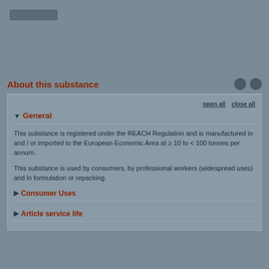ECHA
About this substance
General
This substance is registered under the REACH Regulation and is manufactured in and / or imported to the European Economic Area at ≥ 10 to < 100 tonnes per annum.
This substance is used by consumers, by professional workers (widespread uses) and in formulation or repacking.
Consumer Uses
Article service life